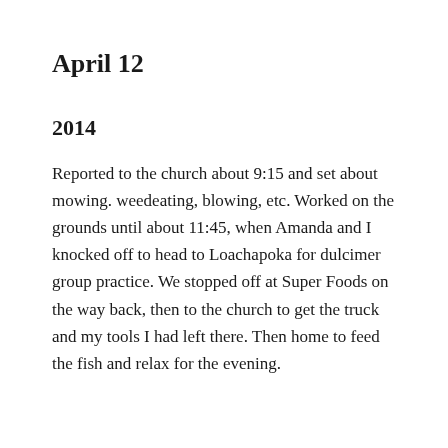April 12
2014
Reported to the church about 9:15 and set about mowing. weedeating, blowing, etc. Worked on the grounds until about 11:45, when Amanda and I knocked off to head to Loachapoka for dulcimer group practice. We stopped off at Super Foods on the way back, then to the church to get the truck and my tools I had left there. Then home to feed the fish and relax for the evening.